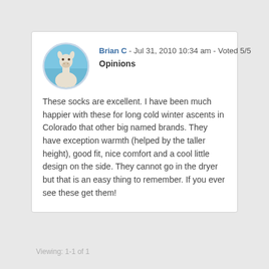[Figure (photo): Circular avatar photo of a llama/alpaca against a blue sky background]
Brian C - Jul 31, 2010 10:34 am - Voted 5/5
Opinions
These socks are excellent. I have been much happier with these for long cold winter ascents in Colorado that other big named brands. They have exception warmth (helped by the taller height), good fit, nice comfort and a cool little design on the side. They cannot go in the dryer but that is an easy thing to remember. If you ever see these get them!
Viewing: 1-1 of 1